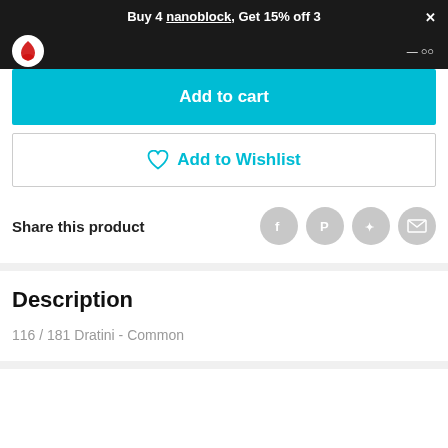Buy 4 nanoblock, Get 15% off 3
Add to cart
Add to Wishlist
Share this product
Description
116 / 181 Dratini - Common